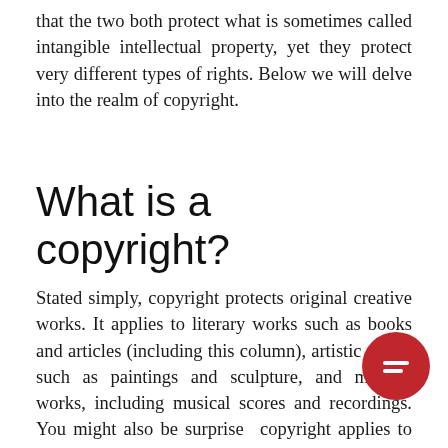that the two both protect what is sometimes called intangible intellectual property, yet they protect very different types of rights. Below we will delve into the realm of copyright.
What is a copyright?
Stated simply, copyright protects original creative works. It applies to literary works such as books and articles (including this column), artistic works such as paintings and sculpture, and musical works, including musical scores and recordings. You might also be surprised copyright applies to computer code, choreography, and even architecture. However